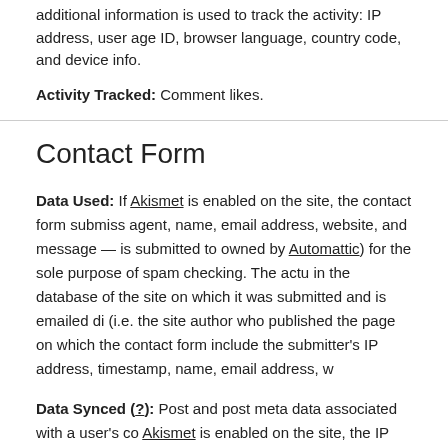additional information is used to track the activity: IP address, user age ID, browser language, country code, and device info.
Activity Tracked: Comment likes.
Contact Form
Data Used: If Akismet is enabled on the site, the contact form submiss agent, name, email address, website, and message — is submitted to owned by Automattic) for the sole purpose of spam checking. The actu in the database of the site on which it was submitted and is emailed di (i.e. the site author who published the page on which the contact form include the submitter's IP address, timestamp, name, email address, w
Data Synced (?): Post and post meta data associated with a user's co Akismet is enabled on the site, the IP address and user agent originally are synced, as well, as they are stored in post meta.
Gravatar Hovercards